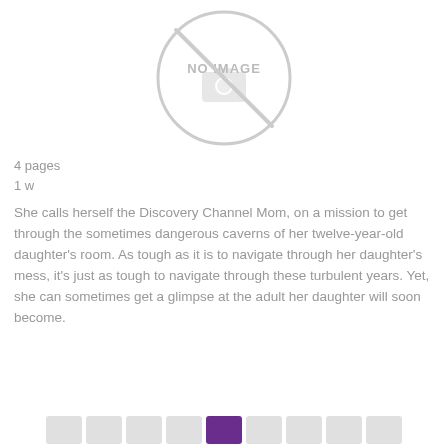[Figure (other): No image placeholder with camera slash icon and 'NO IMAGE' text]
4 pages
1 w
She calls herself the Discovery Channel Mom, on a mission to get through the sometimes dangerous caverns of her twelve-year-old daughter's room. As tough as it is to navigate through her daughter's mess, it's just as tough to navigate through these turbulent years. Yet, she can sometimes get a glimpse at the adult her daughter will soon become.